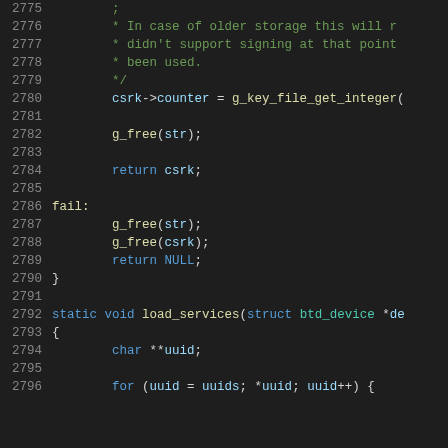Code snippet lines 2775-2796 from a C source file showing Bluetooth device CSRK key loading and service loading functions.